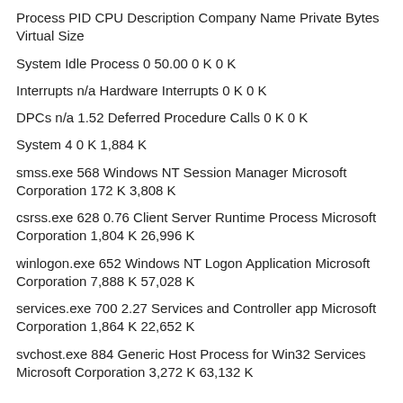| Process | PID | CPU | Description | Company Name | Private Bytes | Virtual Size |
| --- | --- | --- | --- | --- | --- | --- |
| System Idle Process | 0 | 50.00 |  |  | 0 K | 0 K |
| Interrupts | n/a |  | Hardware Interrupts |  | 0 K | 0 K |
| DPCs | n/a | 1.52 | Deferred Procedure Calls |  | 0 K | 0 K |
| System | 4 |  |  |  | 0 K | 1,884 K |
| smss.exe | 568 |  | Windows NT Session Manager | Microsoft Corporation | 172 K | 3,808 K |
| csrss.exe | 628 | 0.76 | Client Server Runtime Process | Microsoft Corporation | 1,804 K | 26,996 K |
| winlogon.exe | 652 |  | Windows NT Logon Application | Microsoft Corporation | 7,888 K | 57,028 K |
| services.exe | 700 | 2.27 | Services and Controller app | Microsoft Corporation | 1,864 K | 22,652 K |
| svchost.exe | 884 |  | Generic Host Process for Win32 Services | Microsoft Corporation | 3,272 K | 63,132 K |